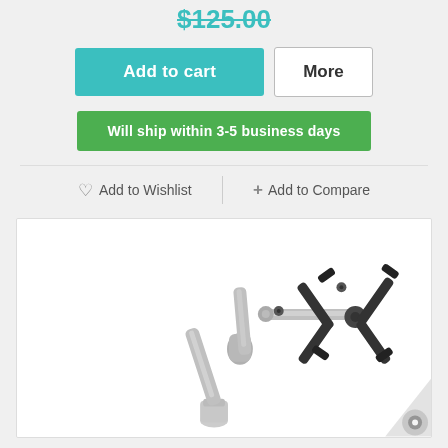$125.00
Add to cart
More
Will ship within 3-5 business days
♡ Add to Wishlist
+ Add to Compare
[Figure (photo): A tablet arm mount with silver articulating arm and black tablet holder bracket, mounted on a desk clamp base]